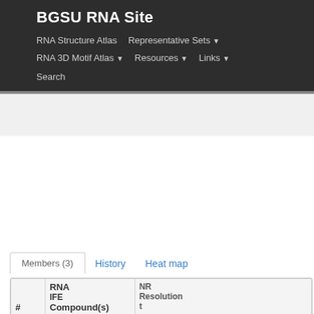BGSU RNA Site
RNA Structure Atlas   Representative Sets ▼   RNA 3D Motif Atlas ▼   Resources ▼   Links ▼   Search
Members (3)   History   Heat map
| # | IFE / organism | RNA Compound(s)
Title | NR Resolution |
| --- | --- | --- | --- |
| 1 | 3EPP|1|Ptfa (rep) | tRNA(Trp)-EF-Tu in the ribosomal pre-accommodated state revealed by cryo-EM
of the 16S rRNA | E220
MICROS
16 |